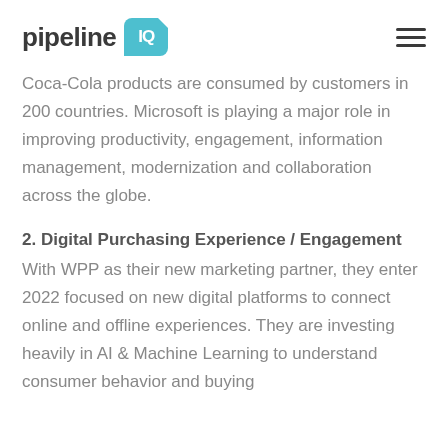pipeline IQ
Coca-Cola products are consumed by customers in 200 countries. Microsoft is playing a major role in improving productivity, engagement, information management, modernization and collaboration across the globe.
2. Digital Purchasing Experience / Engagement
With WPP as their new marketing partner, they enter 2022 focused on new digital platforms to connect online and offline experiences. They are investing heavily in AI & Machine Learning to understand consumer behavior and buying